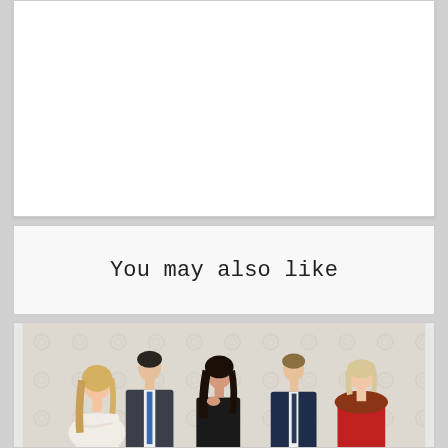[Figure (other): White blank card/content area at the top of the page]
You may also like
[Figure (photo): A group photo of five people (TV show cast): a young blonde woman in white lace, a tall man in dark suit, a dark-haired woman in black, a young man in navy suit, and an older woman in red with fur, posed against a light floral wallpaper background]